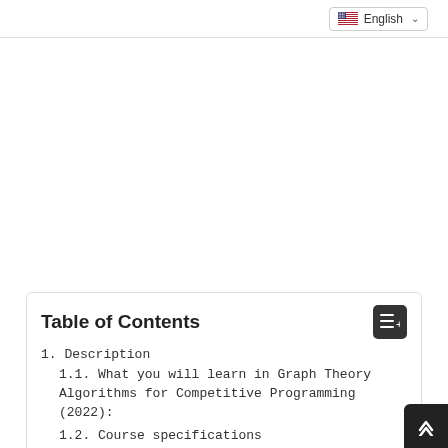English
Table of Contents
1. Description
1.1. What you will learn in Graph Theory Algorithms for Competitive Programming (2022):
1.2. Course specifications
1.3. Graph Theory Algorithms for Competitive Programming Course topics